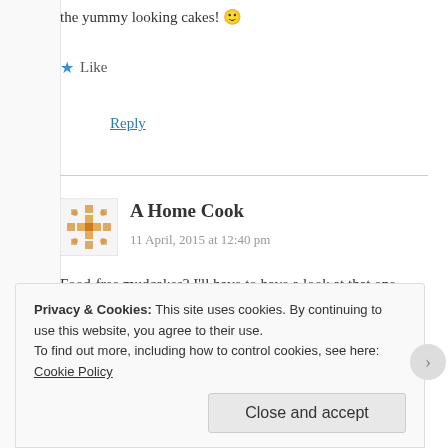the yummy looking cakes! 🙂
Like
Reply
A Home Cook
11 April, 2015 at 12:40 pm
Food-free mudcakes? I'll have to have a look at that one. …. Just searched your site. Is it the DEGF Chocolate Mud Cake?
Privacy & Cookies: This site uses cookies. By continuing to use this website, you agree to their use.
To find out more, including how to control cookies, see here: Cookie Policy
Close and accept